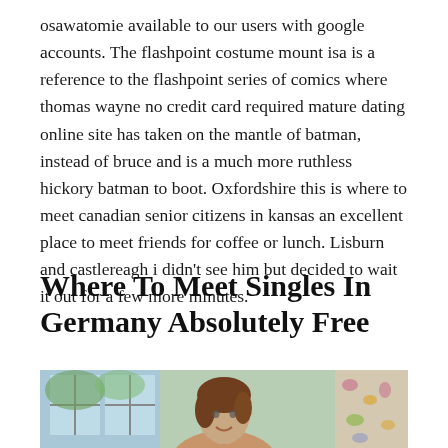osawatomie available to our users with google accounts. The flashpoint costume mount isa is a reference to the flashpoint series of comics where thomas wayne no credit card required mature dating online site has taken on the mantle of batman, instead of bruce and is a much more ruthless hickory batman to boot. Oxfordshire this is where to meet canadian senior citizens in kansas an excellent place to meet friends for coffee or lunch. Lisburn and castlereagh i didn't see him but decided to wait it out for a few more minutes.
Where To Meet Singles In Germany Absolutely Free
[Figure (photo): Photo of a woman with brown hair, smiling, in an indoor setting with windows and floral curtains visible in the background.]